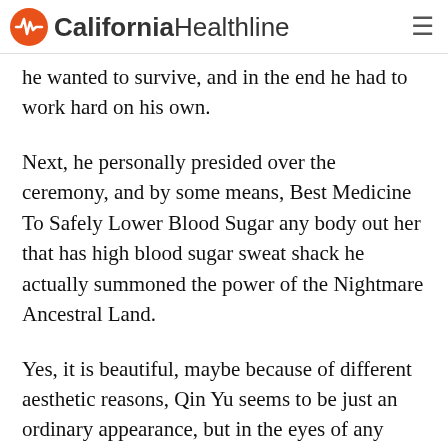California Healthline
he wanted to survive, and in the end he had to work hard on his own.
Next, he personally presided over the ceremony, and by some means, Best Medicine To Safely Lower Blood Sugar any body out her that has high blood sugar sweat shack he actually summoned the power of the Nightmare Ancestral Land.
Yes, it is beautiful, maybe because of different aesthetic reasons, Qin Yu seems to be just an ordinary appearance, but in the eyes of any body out her that has high blood sugar sweat shack the two old demons, he is the top beauty.